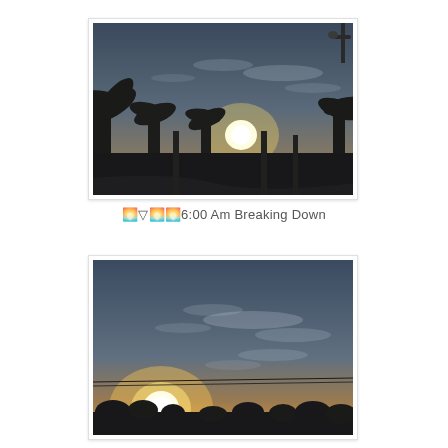[Figure (photo): Outdoor sunrise/sunset photo showing palm trees silhouetted against a bright glowing sun on the horizon, with a blue-gray sky with wispy clouds above, and a road/parking area in the foreground. A streetlight is visible in the upper right corner.]
🌅▽🌅🌅6:00 Am Breaking Down
[Figure (photo): Outdoor sunrise photo showing a bright glowing sun near the horizon with orange and yellow sky near the sun, blue-gray sky above with wispy clouds, and dark silhouetted trees/vegetation along the bottom edge.]